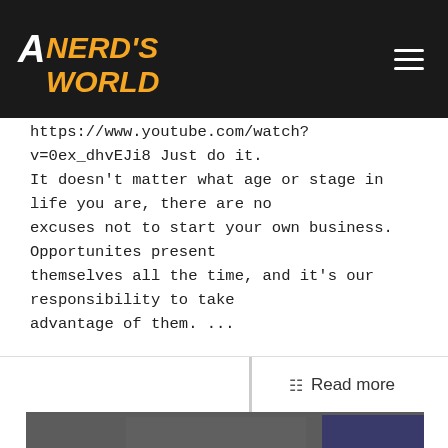A Nerd's World
https://www.youtube.com/watch?v=0ex_dhvEJi8 Just do it. It doesn't matter what age or stage in life you are, there are no excuses not to start your own business.  Opportunites present themselves all the time, and it's our responsibility to take advantage of them. ...
Read more
[Figure (photo): A man wearing glasses and a black shirt standing in front of a door, with a play button overlay indicating a video thumbnail.]